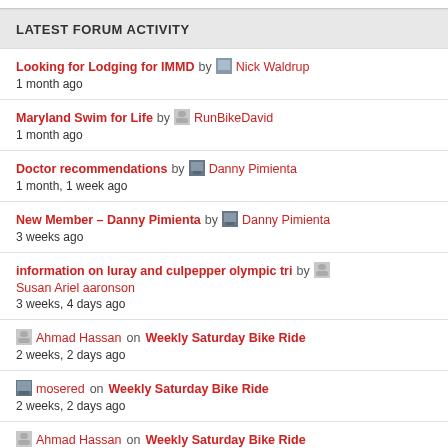LATEST FORUM ACTIVITY
Looking for Lodging for IMMD by Nick Waldrup
1 month ago
Maryland Swim for Life by RunBikeDavid
1 month ago
Doctor recommendations by Danny Pimienta
1 month, 1 week ago
New Member – Danny Pimienta by Danny Pimienta
3 weeks ago
information on luray and culpepper olympic tri by Susan Ariel aaronson
3 weeks, 4 days ago
Ahmad Hassan on Weekly Saturday Bike Ride
2 weeks, 2 days ago
mosered on Weekly Saturday Bike Ride
2 weeks, 2 days ago
Ahmad Hassan on Weekly Saturday Bike Ride
2 weeks, 2 days ago